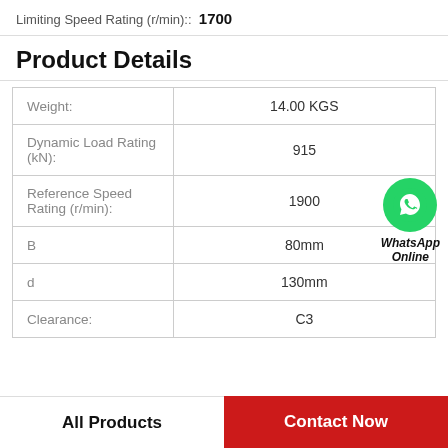Limiting Speed Rating (r/min)::  1700
Product Details
| Property | Value |
| --- | --- |
| Weight: | 14.00 KGS |
| Dynamic Load Rating (kN): | 915 |
| Reference Speed Rating (r/min): | 1900 |
| B | 80mm |
| d | 130mm |
| Clearance: | C3 |
[Figure (logo): WhatsApp Online green phone icon with italic text 'WhatsApp Online']
All Products
Contact Now